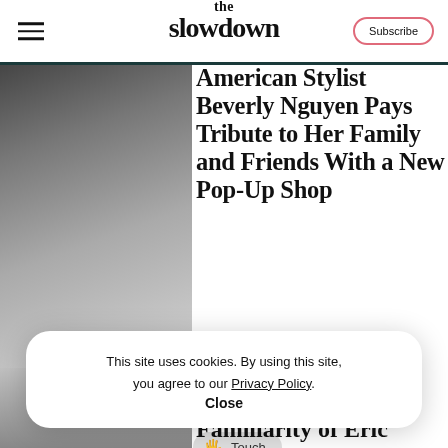the slowdown | Subscribe
[Figure (photo): Blurred/gradient image on left side of article]
American Stylist Beverly Nguyen Pays Tribute to Her Family and Friends With a New Pop-Up Shop
During a recent stay in her home city of Los Angeles, New York–...
Touch
This site uses cookies. By using this site, you agree to our Privacy Policy. Close
[Figure (photo): Blurred/gradient image bottom left]
Familiarity of Eric